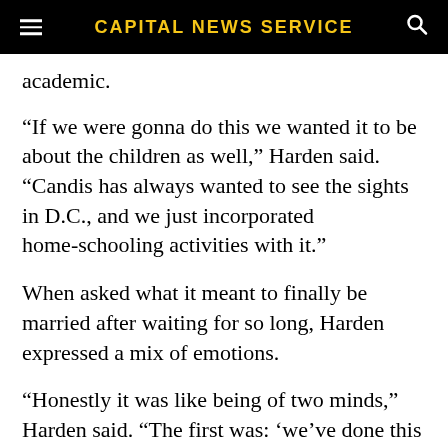CAPITAL NEWS SERVICE
academic.
“If we were gonna do this we wanted it to be about the children as well,” Harden said. “Candis has always wanted to see the sights in D.C., and we just incorporated homeschooling activities with it.”
When asked what it meant to finally be married after waiting for so long, Harden expressed a mix of emotions.
“Honestly it was like being of two minds,” Harden said. “The first was: ‘we’ve done this